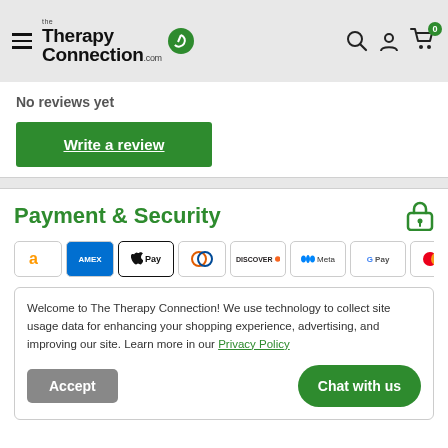The Therapy Connection - Navigation header with logo, search, account, and cart icons
No reviews yet
Write a review
Payment & Security
[Figure (logo): Payment method icons: Amazon, AMEX, Apple Pay, Diners Club, Discover, Meta, Google Pay, Mastercard, PayPal]
Welcome to The Therapy Connection! We use technology to collect site usage data for enhancing your shopping experience, advertising, and improving our site. Learn more in our Privacy Policy
Accept
Chat with us